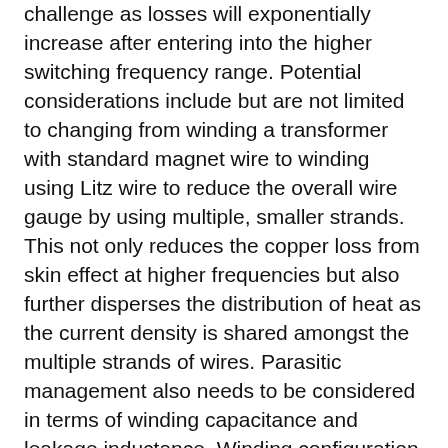challenge as losses will exponentially increase after entering into the higher switching frequency range. Potential considerations include but are not limited to changing from winding a transformer with standard magnet wire to winding using Litz wire to reduce the overall wire gauge by using multiple, smaller strands. This not only reduces the copper loss from skin effect at higher frequencies but also further disperses the distribution of heat as the current density is shared amongst the multiple strands of wires. Parasitic management also needs to be considered in terms of winding capacitance and leakage inductance. Winding configuration is crucial to both of these electrical parameters that can be controlled by sectioning a bobbin or a optimizing a toroidal winding instead. Another potential consideration in designing for GaN applications is designing the magnetic as an integrated planar transformer, in which case the winding would be embedded into the printed circuit board. In